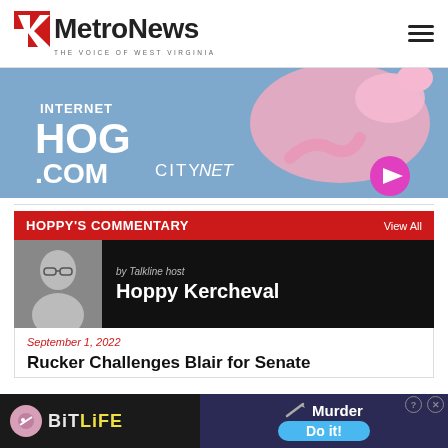MetroNews — THE VOICE OF WEST VIRGINIA
[Figure (illustration): Internet Hog .com CityNet advertisement banner with pink pig and blue background]
HOPPY'S COMMENTARY — View All
[Figure (photo): Portrait photo of Talkline host Hoppy Kercheval]
by Talkline host Hoppy Kercheval
September 1, 2022
Rucker Challenges Blair for Senate
[Figure (illustration): BitLife mobile game advertisement — Murder Do it!]